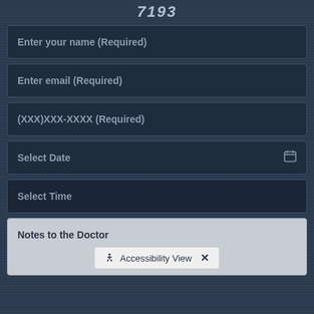7193
Enter your name (Required)
Enter email (Required)
(XXX)XXX-XXXX (Required)
Select Date
Select Time
Notes to the Doctor
Accessibility View